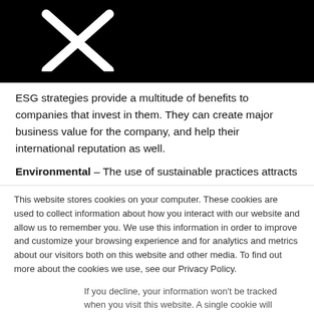[Figure (logo): X (formerly Twitter) logo — white X mark on black background, top-left of page header]
ESG strategies provide a multitude of benefits to companies that invest in them. They can create major business value for the company, and help their international reputation as well.
Environmental – The use of sustainable practices attracts more
This website stores cookies on your computer. These cookies are used to collect information about how you interact with our website and allow us to remember you. We use this information in order to improve and customize your browsing experience and for analytics and metrics about our visitors both on this website and other media. To find out more about the cookies we use, see our Privacy Policy.
If you decline, your information won't be tracked when you visit this website. A single cookie will be used in your browser to remember your preference not to be tracked.
Accept   Decline